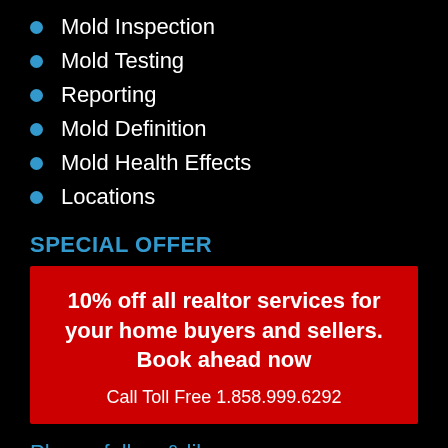Mold Inspection
Mold Testing
Reporting
Mold Definition
Mold Health Effects
Locations
SPECIAL OFFER
10% off all realtor services for your home buyers and sellers. Book ahead now
Call Toll Free 1.858.999.6292
Please follow & like us
[Figure (other): Social media icons: Facebook (f), Twitter (bird), LinkedIn (in)]